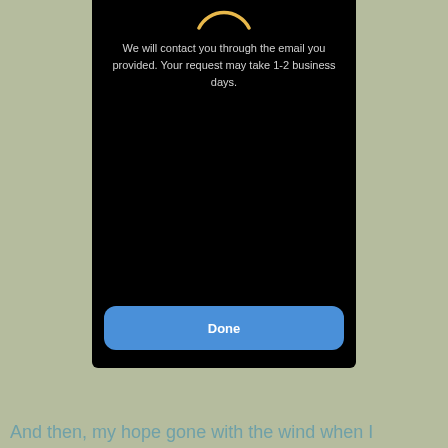[Figure (screenshot): Mobile app screenshot on a sage/olive green background. The screen shows a dark/black UI panel with a partial arc/spinner icon at the top, a message about email contact, and a blue 'Done' button at the bottom.]
We will contact you through the email you provided. Your request may take 1-2 business days.
Done
And then, my hope gone with the wind when I